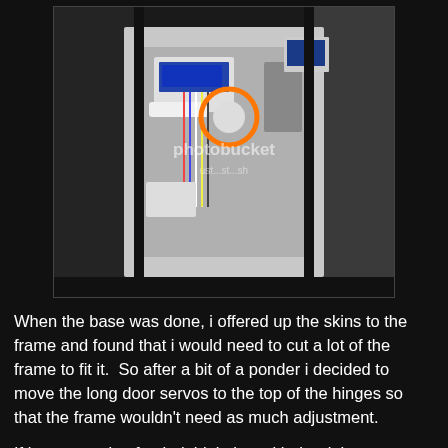[Figure (photo): Photograph showing the interior of a model robot or prop body with wiring, servos, and electronic components visible inside the frame. A Photobucket watermark is overlaid on the image.]
When the base was done, i offered up the skins to the frame and found that i would need to cut a lot of the frame to fit it. So after a bit of a ponder i decided to move the long door servos to the top of the hinges so that the frame wouldn't need as much adjustment.
If i were starting fresh, i think that with the right arm carrier one could fit all 5 servos to the skins, with the long doors and the big door and CBI servos above the doors, and only the small door below, then the frame would only need one cut out and would be a really neat setup.
So with the body rewired again i marked and cut the frame to accommodate the other servos, and the front skins were again able to be fitted. I also cut access to the master